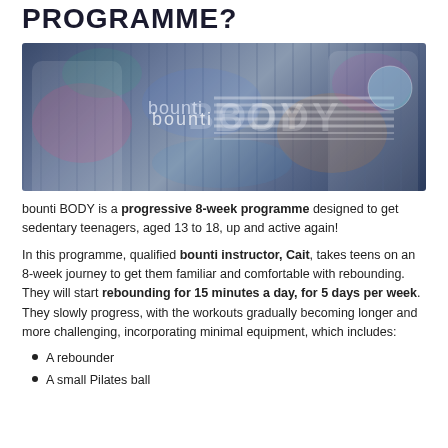PROGRAMME?
[Figure (photo): bounti BODY promotional banner showing two blonde teenage girls exercising with a small Pilates ball against a graffiti wall background, with 'bounti BODY' text overlay]
bounti BODY is a progressive 8-week programme designed to get sedentary teenagers, aged 13 to 18, up and active again!
In this programme, qualified bounti instructor, Cait, takes teens on an 8-week journey to get them familiar and comfortable with rebounding. They will start rebounding for 15 minutes a day, for 5 days per week. They slowly progress, with the workouts gradually becoming longer and more challenging, incorporating minimal equipment, which includes:
A rebounder
A small Pilates ball